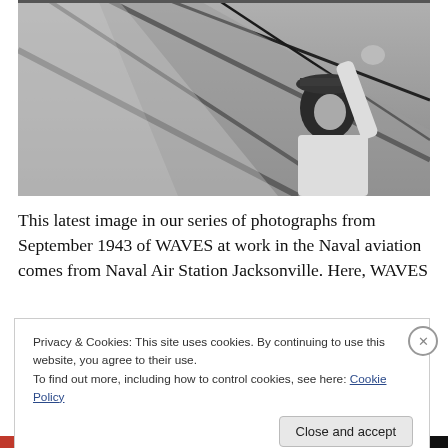[Figure (photo): Black and white photograph from September 1943 showing WAVES (Women Accepted for Volunteer Emergency Service) at work in Naval aviation at Naval Air Station Jacksonville. A person in a white uniform and cap is looking upward while working on aircraft equipment with metal struts/wires visible.]
This latest image in our series of photographs from September 1943 of WAVES at work in the Naval aviation comes from Naval Air Station Jacksonville. Here, WAVES
Privacy & Cookies: This site uses cookies. By continuing to use this website, you agree to their use.
To find out more, including how to control cookies, see here: Cookie Policy
Close and accept